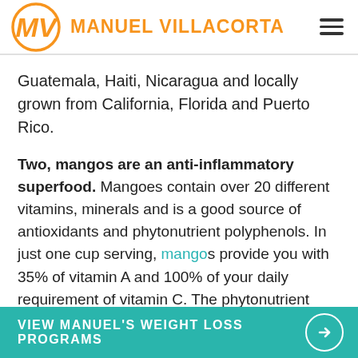MANUEL VILLACORTA
Guatemala, Haiti, Nicaragua and locally grown from California, Florida and Puerto Rico.
Two, mangos are an anti-inflammatory superfood. Mangoes contain over 20 different vitamins, minerals and is a good source of antioxidants and phytonutrient polyphenols. In just one cup serving, mangos provide you with 35% of vitamin A and 100% of your daily requirement of vitamin C. The phytonutrient
VIEW MANUEL'S WEIGHT LOSS PROGRAMS